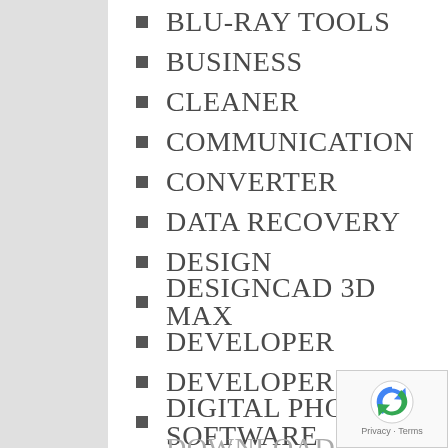BLU-RAY TOOLS
BUSINESS
CLEANER
COMMUNICATION
CONVERTER
DATA RECOVERY
DESIGN
DESIGNCAD 3D MAX
DEVELOPER
DEVELOPER TOOL
DIGITAL PHOTO SOFTWARE
DOWNLOAD MANAGERS